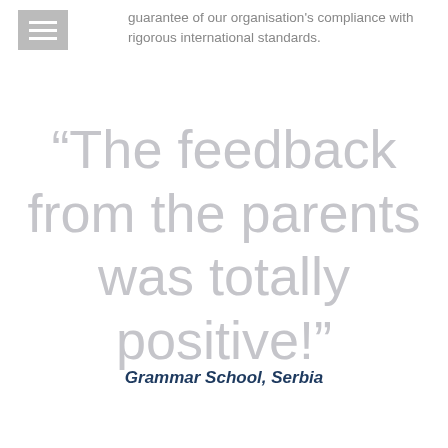guarantee of our organisation's compliance with rigorous international standards.
“The feedback from the parents was totally positive!”
Grammar School, Serbia